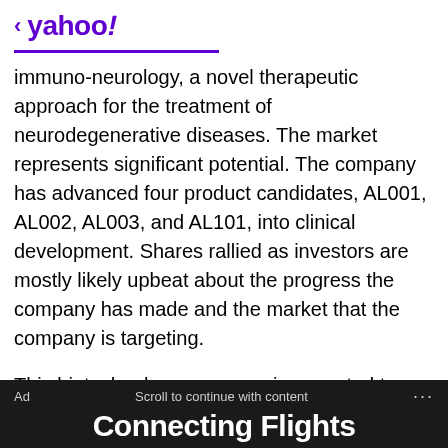< yahoo!
immuno-neurology, a novel therapeutic approach for the treatment of neurodegenerative diseases. The market represents significant potential. The company has advanced four product candidates, AL001, AL002, AL003, and AL101, into clinical development. Shares rallied as investors are mostly likely upbeat about the progress the company has made and the market that the company is targeting.
This biotechnology company is expected to post quarterly earnings of $0.02 per share in its upcoming report, which represents a year-over-year change of +103%. Revenues are expected to be $75.34 million, up 1453.5% from the year-ago quarter.
Ad   Scroll to continue with content   ...   Connecting Flights